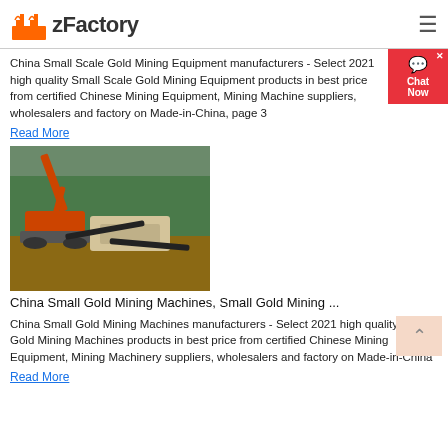zFactory
China Small Scale Gold Mining Equipment manufacturers - Select 2021 high quality Small Scale Gold Mining Equipment products in best price from certified Chinese Mining Equipment, Mining Machine suppliers, wholesalers and factory on Made-in-China, page 3
Read More
[Figure (photo): Excavator and mobile crushing/screening plant at an open-pit mining site with forest in background]
China Small Gold Mining Machines, Small Gold Mining ...
China Small Gold Mining Machines manufacturers - Select 2021 high quality Small Gold Mining Machines products in best price from certified Chinese Mining Equipment, Mining Machinery suppliers, wholesalers and factory on Made-in-China
Read More